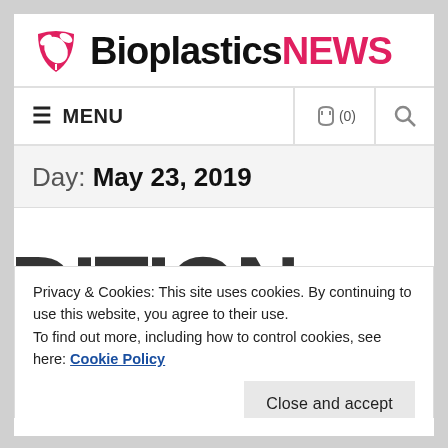Bioplastics NEWS
≡ MENU  🛒(0)  🔍
Day: May 23, 2019
Privacy & Cookies: This site uses cookies. By continuing to use this website, you agree to their use.
To find out more, including how to control cookies, see here: Cookie Policy
Close and accept
EVENTS